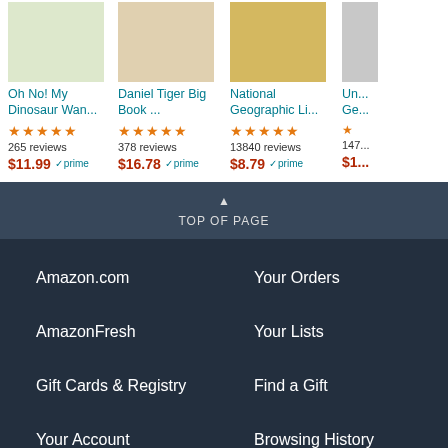[Figure (screenshot): Product card: Oh No! My Dinosaur Wan... with 4.5 stars, 265 reviews, $11.99 Prime]
[Figure (screenshot): Product card: Daniel Tiger Big Book ... with 5 stars, 378 reviews, $16.78 Prime]
[Figure (screenshot): Product card: National Geographic Li... with 5 stars, 13840 reviews, $8.79 Prime]
[Figure (screenshot): Partial product card: Un... Ge... with 147... reviews, $1...]
TOP OF PAGE
Amazon.com
Your Orders
AmazonFresh
Your Lists
Gift Cards & Registry
Find a Gift
Your Account
Browsing History